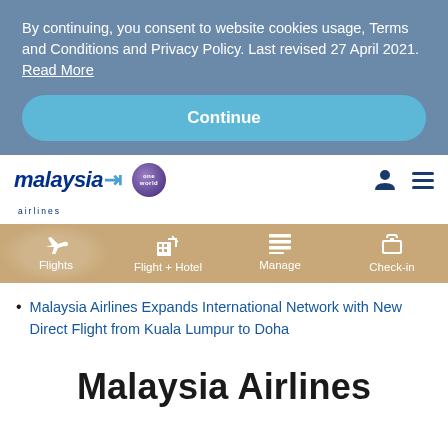By continuing, you consent to website cookies usage, Terms and Conditions and Privacy Policy. Last revised 27 April 2021. Read More
Continue
[Figure (logo): Malaysia Airlines logo with blue text and arrow mark, oneworld alliance circle logo, person icon and hamburger menu icon]
[Figure (infographic): Navigation bar with golden/tan background showing four options: Flights (plane icon), Flight + Hotel (building icon), Manage (list icon), Check-in (luggage icon)]
Malaysia Airlines Expands International Network with New Direct Flight from Kuala Lumpur to Doha
Malaysia Airlines